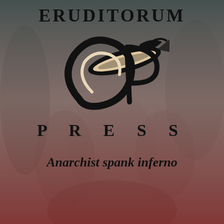[Figure (logo): Eruditorum Press logo page with background artwork of figures in a hellish scene, overlaid with a gradient from dark grey-green at top to dark red at bottom. Large stylized 'EP' monogram logo in black. Text 'ERUDITORUM' at top, 'PRESS' below logo, and 'Anarchist spank inferno' as italic tagline.]
ERUDITORUM
PRESS
Anarchist spank inferno